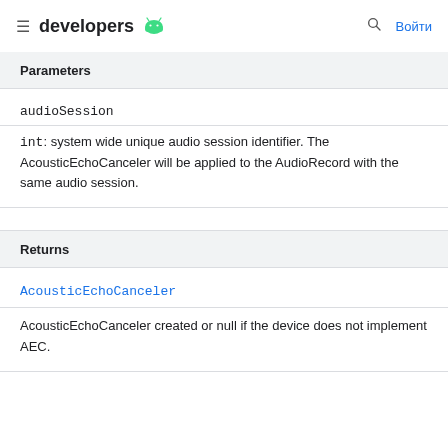≡ developers 🤖  🔍 Войти
Parameters
audioSession
int: system wide unique audio session identifier. The AcousticEchoCanceler will be applied to the AudioRecord with the same audio session.
Returns
AcousticEchoCanceler
AcousticEchoCanceler created or null if the device does not implement AEC.